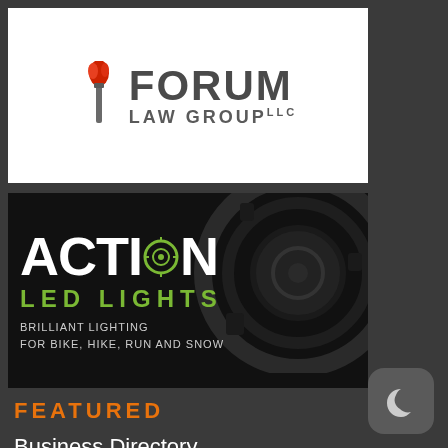[Figure (logo): Forum Law Group LLC logo with torch flame icon in red/orange and gray text on white background]
[Figure (logo): Action LED Lights advertisement - black background with circular LED light design, white ACTION text, green LED LIGHTS text, tagline: BRILLIANT LIGHTING FOR BIKE, HIKE, RUN AND SNOW]
FEATURED
Business Directory
BikePortland Podcast
Job Listings
Latest Videos